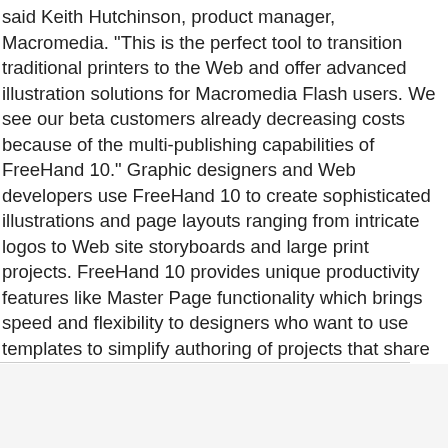said Keith Hutchinson, product manager, Macromedia. "This is the perfect tool to transition traditional printers to the Web and offer advanced illustration solutions for Macromedia Flash users. We see our beta customers already decreasing costs because of the multi-publishing capabilities of FreeHand 10." Graphic designers and Web developers use FreeHand 10 to create sophisticated illustrations and page layouts ranging from intricate logos to Web site storyboards and large print projects. FreeHand 10 provides unique productivity features like Master Page functionality which brings speed and flexibility to designers who want to use templates to simplify authoring of projects that share common design elements.